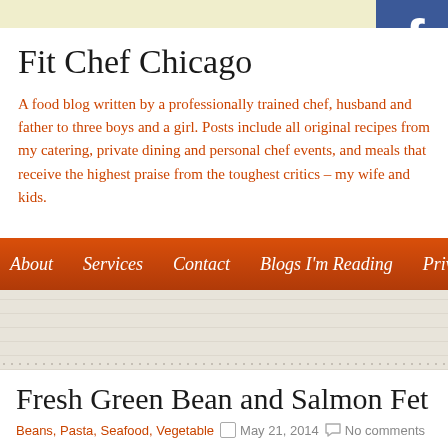Fit Chef Chicago
A food blog written by a professionally trained chef, husband and father to three boys and a girl. Posts include all original recipes from my catering, private dining and personal chef events, and meals that receive the highest praise from the toughest critics – my wife and kids.
About   Services   Contact   Blogs I'm Reading   Privacy
[Figure (photo): Blurred food/recipe image placeholder in tan/beige tones]
Fresh Green Bean and Salmon Fet
Beans, Pasta, Seafood, Vegetable   May 21, 2014   No comments
Follow me on Pinterest